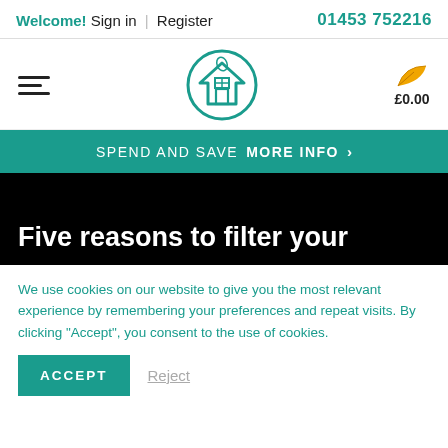Welcome! Sign in | Register   01453 752216
[Figure (logo): House with leaf logo in teal circle, hamburger menu icon, and shopping cart with leaf icon showing £0.00]
SPEND AND SAVE   MORE INFO >
Five reasons to filter your
We use cookies on our website to give you the most relevant experience by remembering your preferences and repeat visits. By clicking "Accept", you consent to the use of cookies.
ACCEPT   Reject